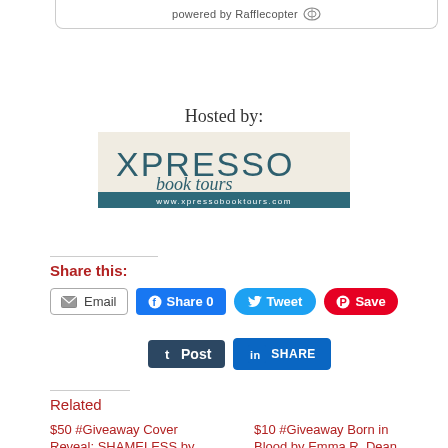[Figure (screenshot): Rafflecopter giveaway widget bottom bar with 'powered by Rafflecopter' text and icon]
Hosted by:
[Figure (logo): Xpresso Book Tours logo — large stylized text 'XPRESSO book tours' with subtitle www.xpressobooktours.com on teal background]
Share this:
Email | Share 0 | Tweet | Save | Post | SHARE
Related
$50 #Giveaway Cover Reveal: SHAMELESS by...
$10 #Giveaway Born in Blood by Emma R. Dean...